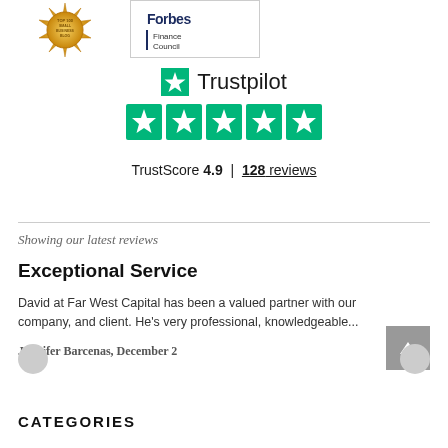[Figure (logo): Top 100 Small Business Blog gold badge medallion]
[Figure (logo): Forbes Finance Council logo with text 'Finance Council']
[Figure (logo): Trustpilot logo with green star and text 'Trustpilot', five green star rating icons, TrustScore 4.9 | 128 reviews]
Showing our latest reviews
Exceptional Service
David at Far West Capital has been a valued partner with our company, and client. He's very professional, knowledgeable...
Jennifer Barcenas, December 2
CATEGORIES